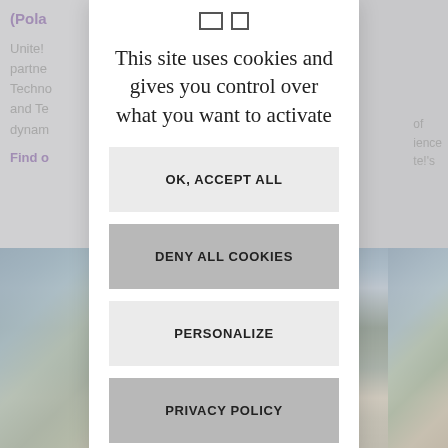[Figure (screenshot): Background website content partially visible behind cookie consent modal, showing purple text '(Pola...' heading, grey body text mentioning 'Unite!', 'partners', 'Technology', 'Science and Technology', and a purple 'Find o...' link, with a landscape photo strip at the bottom showing mountains and a city.]
This site uses cookies and gives you control over what you want to activate
OK, ACCEPT ALL
DENY ALL COOKIES
PERSONALIZE
PRIVACY POLICY